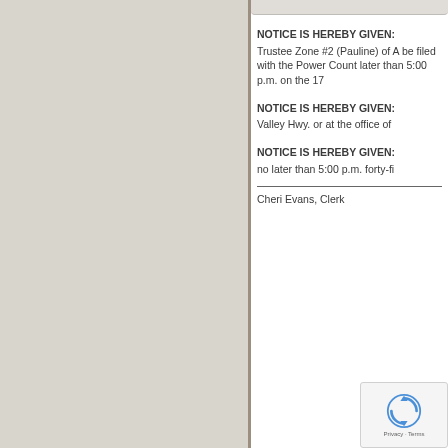NOTICE IS HEREBY GIVEN: Trustee Zone #2 (Pauline) of A be filed with the Power Count later than 5:00 p.m. on the 17
NOTICE IS HEREBY GIVEN: Valley Hwy. or at the office of
NOTICE IS HEREBY GIVEN: no later than 5:00 p.m. forty-fi
Cheri Evans, Clerk